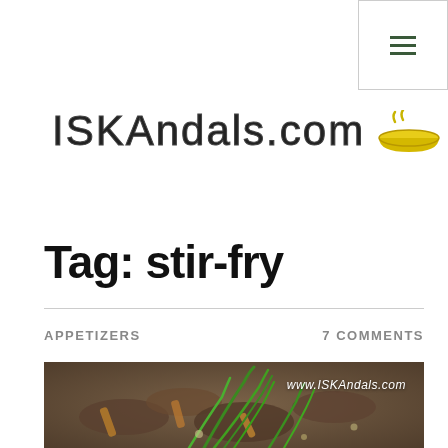ISKAndals.com
Tag: stir-fry
APPETIZERS
7 COMMENTS
[Figure (photo): Close-up photo of a stir-fry dish with mushrooms, sprouts, and green onions, with watermark www.ISKAndals.com]